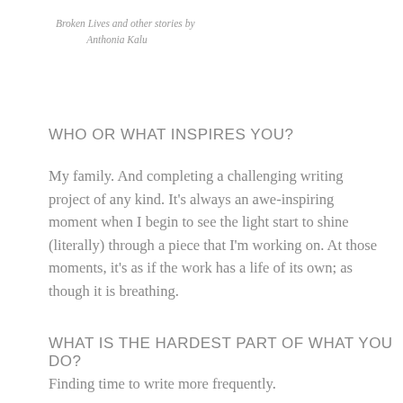Broken Lives and other stories by Anthonia Kalu
WHO OR WHAT INSPIRES YOU?
My family. And completing a challenging writing project of any kind. It's always an awe-inspiring moment when I begin to see the light start to shine (literally) through a piece that I'm working on. At those moments, it's as if the work has a life of its own; as though it is breathing.
WHAT IS THE HARDEST PART OF WHAT YOU DO?
Finding time to write more frequently.